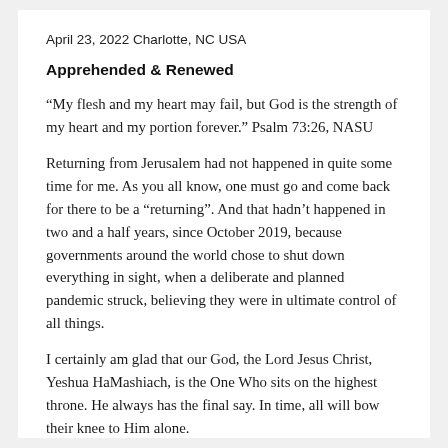April 23, 2022 Charlotte, NC USA
Apprehended & Renewed
“My flesh and my heart may fail, but God is the strength of my heart and my portion forever.” Psalm 73:26, NASU
Returning from Jerusalem had not happened in quite some time for me. As you all know, one must go and come back for there to be a “returning”. And that hadn’t happened in two and a half years, since October 2019, because governments around the world chose to shut down everything in sight, when a deliberate and planned pandemic struck, believing they were in ultimate control of all things.
I certainly am glad that our God, the Lord Jesus Christ, Yeshua HaMashiach, is the One Who sits on the highest throne. He always has the final say. In time, all will bow their knee to Him alone.